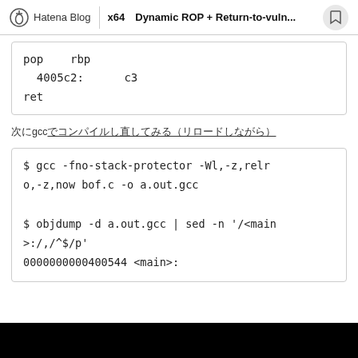Hatena Blog | x64 Dynamic ROP + Return-to-vuln...
pop    rbp
  4005c2:    c3
ret
次にgccでコンパイルし直してみる（リロードしながら）
$ gcc -fno-stack-protector -Wl,-z,relro,-z,now bof.c -o a.out.gcc

$ objdump -d a.out.gcc | sed -n '/<main>:/,/^$/p'
0000000000400544 <main>: